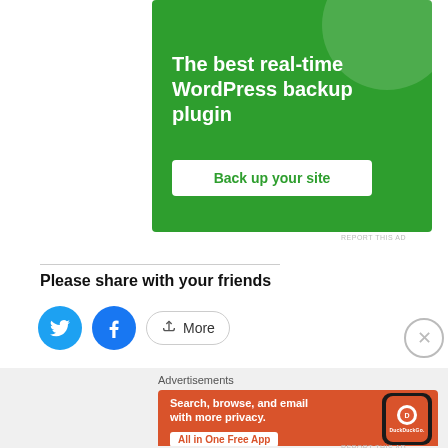[Figure (illustration): Green advertisement banner for WordPress backup plugin with white text and a 'Back up your site' button]
REPORT THIS AD
Please share with your friends
[Figure (illustration): Social sharing buttons: Twitter (blue bird icon), Facebook (blue F icon), and a More button with share icon]
[Figure (illustration): Close button (X in circle) on right side]
Advertisements
[Figure (illustration): Orange DuckDuckGo advertisement banner: 'Search, browse, and email with more privacy. All in One Free App' with phone mockup showing DuckDuckGo logo]
REPORT THIS AD